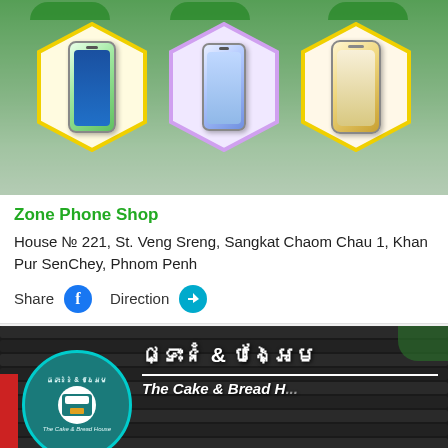[Figure (photo): Zone Phone Shop banner with three smartphones displayed in yellow hexagon frames against a green/outdoor background]
Zone Phone Shop
House № 221, St. Veng Sreng, Sangkat Chaom Chau 1, Khan Pur SenChey, Phnom Penh
Share  Direction
[Figure (photo): The Cake & Bread House bakery storefront with black slatted signboard, circular teal logo, Khmer script and English text. Chat button visible at bottom right.]